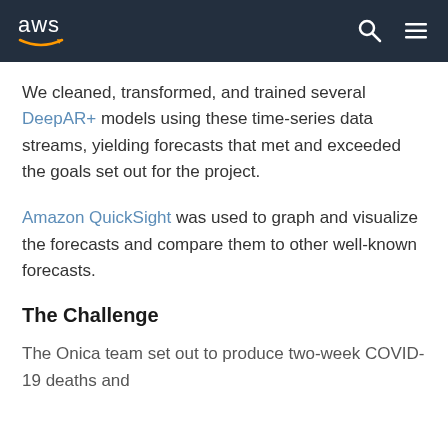AWS logo navigation bar with search and menu icons
We cleaned, transformed, and trained several DeepAR+ models using these time-series data streams, yielding forecasts that met and exceeded the goals set out for the project.
Amazon QuickSight was used to graph and visualize the forecasts and compare them to other well-known forecasts.
The Challenge
The Onica team set out to produce two-week COVID-19 deaths and hospitalizations forecasts for all United States